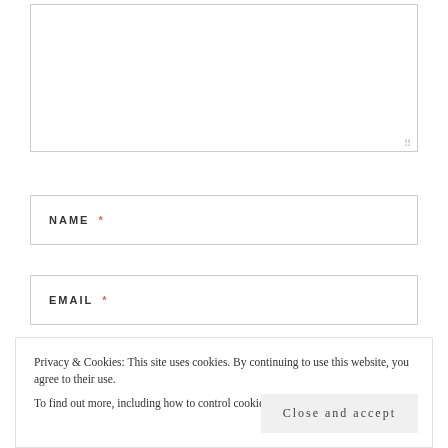[Figure (screenshot): Textarea input box (comment field), empty, with resize handle at bottom-right]
NAME *
EMAIL *
Privacy & Cookies: This site uses cookies. By continuing to use this website, you agree to their use.
To find out more, including how to control cookies, see here: Our Cookie Policy
Close and accept
POST COMMENT